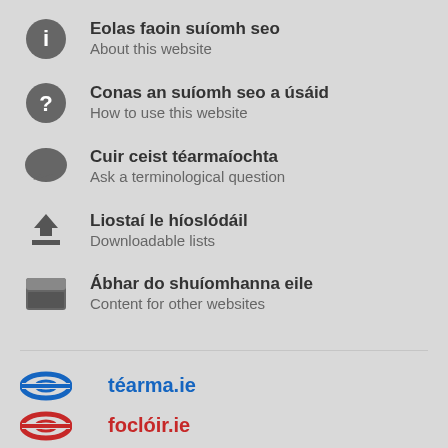Eolas faoin suíomh seo
About this website
Conas an suíomh seo a úsáid
How to use this website
Cuir ceist téarmaíochta
Ask a terminological question
Liostaí le híoslódáil
Downloadable lists
Ábhar do shuíomhanna eile
Content for other websites
téarma.ie
foclóir.ie